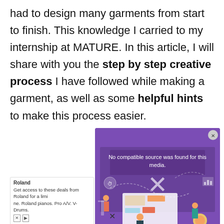had to design many garments from start to finish. This knowledge I carried to my internship at MATURE. In this article, I will share with you the step by step creative process I have followed while making a garment, as well as some helpful hints to make this process easier.
[Figure (screenshot): A video player overlay on a purple background showing 'No compatible source was found for this media.' with an X button and decorative illustration of people working around a large screen]
Roland
Get access to these deals from Roland for a limi
ne. Roland pianos. Pro A/V. V-Drums.